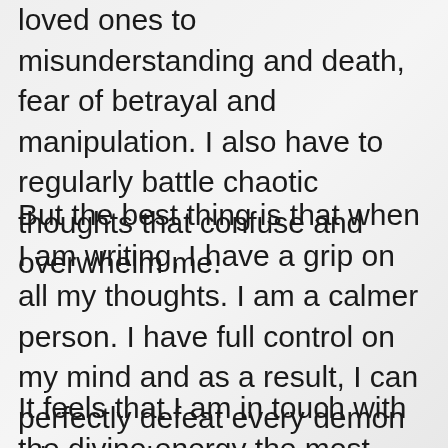loved ones to misunderstanding and death, fear of betrayal and manipulation. I also have to regularly battle chaotic thoughts that confuse and overwhelm me.
But the best thing is that when I am writing, I have a grip on all my thoughts. I am a calmer person. I have full control on my mind and as a result, I can perfectly defeat every demon when I write.
It feels that I am in touch with the divine energy the most when I am writing and